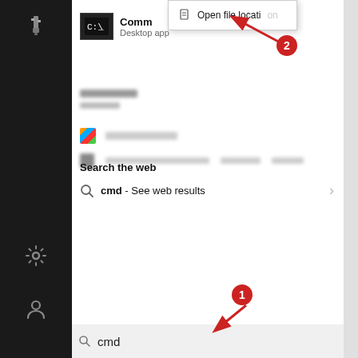[Figure (screenshot): Windows 10 Start Menu search interface showing: a black left sidebar with USB, settings, and user icons; a context menu popup with 'Open file location' option; Command Prompt app result labeled 'Comm' with 'Desktop app' subtitle; blurred search results rows; 'Search the web' section with 'cmd - See web results'; a bottom search bar with 'cmd' typed; red numbered badges (1) pointing to search bar and (2) pointing to 'Open file location' context menu item with red arrows.]